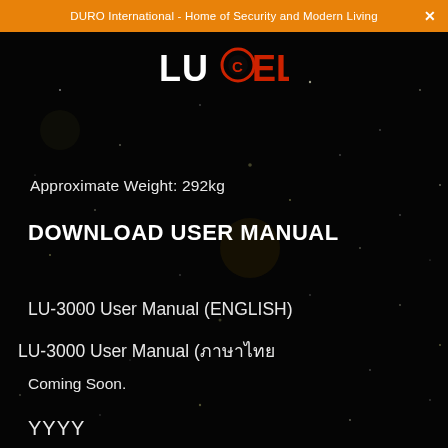DURO International - Home of Security and Modern Living
[Figure (logo): LuCell logo with stylized text: LU with circular O containing C, ELL in red and white on dark background]
Approximate Weight: 292kg
DOWNLOAD USER MANUAL
LU-3000 User Manual (ENGLISH)
LU-3000 User Manual (ภาษาไทย)
Coming Soon.
YYYY